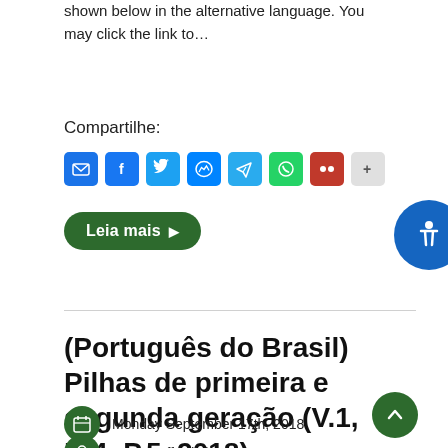shown below in the alternative language. You may click the link to…
Compartilhe:
[Figure (infographic): Social sharing icons: Email, Facebook, Twitter, Messenger, Telegram, WhatsApp, Miriada, Share]
Leia mais ▶
(Português do Brasil) Pilhas de primeira e segunda geração (V.1, N.4, P.5, 2018)
Monday September 17th, 2018
Hugo Suffredini
Comentar